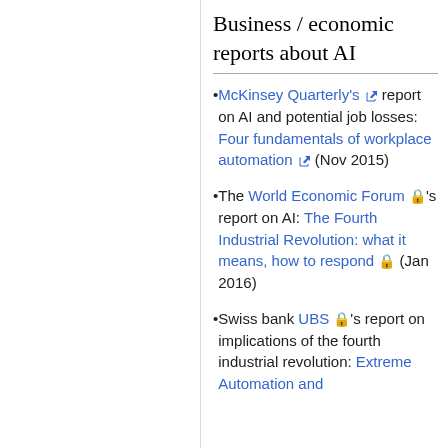Business / economic reports about AI
McKinsey Quarterly's [external link] report on AI and potential job losses: Four fundamentals of workplace automation [external link] (Nov 2015)
The World Economic Forum [locked] 's report on AI: The Fourth Industrial Revolution: what it means, how to respond [locked] (Jan 2016)
Swiss bank UBS [locked] 's report on implications of the fourth industrial revolution: Extreme Automation and